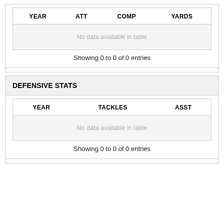| YEAR | ATT | COMP | YARDS |
| --- | --- | --- | --- |
Showing 0 to 0 of 0 entries
DEFENSIVE STATS
| YEAR | TACKLES | ASST |
| --- | --- | --- |
Showing 0 to 0 of 0 entries